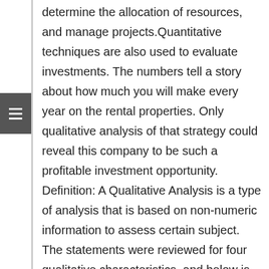determine the allocation of resources, and manage projects.Quantitative techniques are also used to evaluate investments. The numbers tell a story about how much you will make every year on the rental properties. Only qualitative analysis of that strategy could reveal this company to be such a profitable investment opportunity. Definition: A Qualitative Analysis is a type of analysis that is based on non-numeric information to assess certain subject. The statements were reviewed for four qualitative characteristics, and below is an analysis of the qualitative findings that conclude Paisley industries' 2018 income statement and schedules only meet 2 of the four qualitative characteristics. Quantitative analysis helps in evaluating performance, assessing financial instruments, and making predictions. It works on Windows, Linux/FreeBSD and Mac OSX platforms. For the